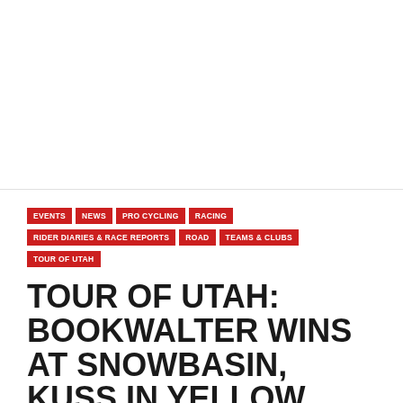[Figure (photo): Large photograph area at top of page (white/blank in this view)]
EVENTS
NEWS
PRO CYCLING
RACING
RIDER DIARIES & RACE REPORTS
ROAD
TEAMS & CLUBS
TOUR OF UTAH
TOUR OF UTAH: BOOKWALTER WINS AT SNOWBASIN, KUSS IN YELLOW